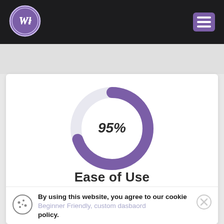[Figure (logo): WL logo in purple circle on dark navbar]
[Figure (donut-chart): Ease of Use]
Ease of Use
Beginner Friendly, custom dasbaord
By using this website, you agree to our cookie policy.